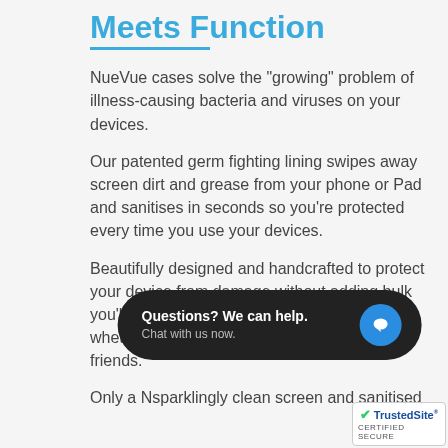Meets Function
NueVue cases solve the "growing" problem of illness-causing bacteria and viruses on your devices.
Our patented germ fighting lining swipes away screen dirt and grease from your phone or Pad and sanitises in seconds so you're protected every time you use your devices.
Beautifully designed and handcrafted to protect your device from damage without adding bulk you'll have a case that everyone envies, whether your in the office, home or out with friends.
Only a N... sparklingly clean screen and sanitised
[Figure (other): Chat widget overlay with text 'Questions? We can help. Chat with us now.' and a blue chat icon bubble]
[Figure (logo): TrustedSite CERTIFIED SECURE badge in bottom right corner]